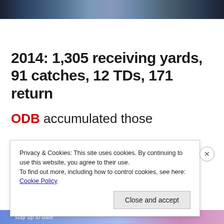[Figure (photo): Top strip of a photo showing what appears to be a sports/outdoor scene with flag and blurred figures in background]
2014: 1,305 receiving yards, 91 catches, 12 TDs, 171 return
ODB accumulated those
Privacy & Cookies: This site uses cookies. By continuing to use this website, you agree to their use.
To find out more, including how to control cookies, see here: Cookie Policy
Close and accept